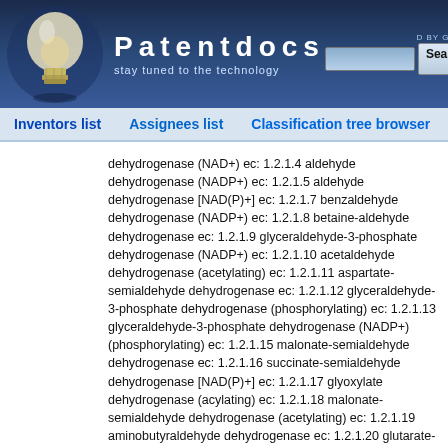Patentdocs – stay tuned to the technology
Inventors list   Assignees list   Classification tree browser
dehydrogenase (NAD+) ec: 1.2.1.4 aldehyde dehydrogenase (NADP+) ec: 1.2.1.5 aldehyde dehydrogenase [NAD(P)+] ec: 1.2.1.7 benzaldehyde dehydrogenase (NADP+) ec: 1.2.1.8 betaine-aldehyde dehydrogenase ec: 1.2.1.9 glyceraldehyde-3-phosphate dehydrogenase (NADP+) ec: 1.2.1.10 acetaldehyde dehydrogenase (acetylating) ec: 1.2.1.11 aspartate-semialdehyde dehydrogenase ec: 1.2.1.12 glyceraldehyde-3-phosphate dehydrogenase (phosphorylating) ec: 1.2.1.13 glyceraldehyde-3-phosphate dehydrogenase (NADP+) (phosphorylating) ec: 1.2.1.15 malonate-semialdehyde dehydrogenase ec: 1.2.1.16 succinate-semialdehyde dehydrogenase [NAD(P)+] ec: 1.2.1.17 glyoxylate dehydrogenase (acylating) ec: 1.2.1.18 malonate-semialdehyde dehydrogenase (acetylating) ec: 1.2.1.19 aminobutyraldehyde dehydrogenase ec: 1.2.1.20 glutarate-semialdehyde dehydrogenase ec: 1.2.1.21 glycolaldehyde dehydrogenase ec: 1.2.1.22 lactaldehyde dehydrogenase ec: 1.2.1.23